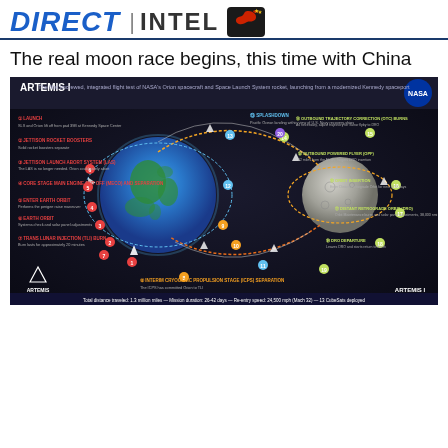DIRECT | INTEL
The real moon race begins, this time with China
[Figure (infographic): NASA Artemis I mission infographic showing the complete flight path from Earth to the Moon and back. Includes labeled steps: Launch, Jettison Rocket Boosters, Jettison Launch Abort System, Core Stage Main Engine Cut Off and separation, Enter Earth Orbit, Earth Orbit, Trans Lunar Injection Burn, Splashdown, Final Return Trajectory Correction Burn, Interim Cryogenic Propulsion Stage Separation, Outbound Transit, CubeSat Deploy, Return Transit, Entry Interface, Outbound Trajectory Correction Burns, Return Powered Fly-By, Orbit Insertion, Distant Retrograde Orbit, DRO Departure. Stats at bottom: Total distance traveled: 1.3 million miles, Mission duration: 26-42 days, Re-entry speed: 24,500 mph (Mach 32), 13 CubeSats deployed.]